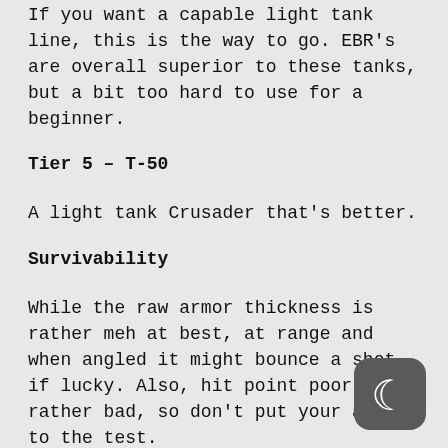If you want a capable light tank line, this is the way to go. EBR's are overall superior to these tanks, but a bit too hard to use for a beginner.
Tier 5 – T-50
A light tank Crusader that's better.
Survivability
While the raw armor thickness is rather meh at best, at range and when angled it might bounce a shot, if lucky. Also, hit point poor is rather bad, so don't put your armor to the test.
Firepower
[Figure (logo): Dark grey rounded square icon with a crescent moon symbol (Quora or similar app logo)]